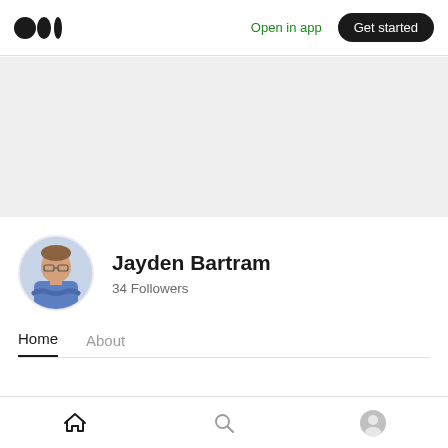Medium logo | Open in app | Get started
[Figure (screenshot): Gray banner/cover photo area for user profile]
[Figure (photo): Circular avatar photo of Jayden Bartram, a man with glasses and crossed arms wearing a blue shirt]
Jayden Bartram
34 Followers
Home
About
Published in Couchdrop · Aug 10
Home | Search | Profile icons